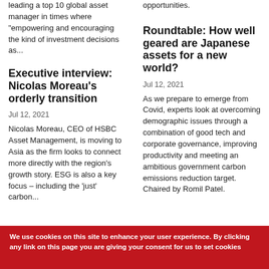leading a top 10 global asset manager in times where "empowering and encouraging the kind of investment decisions as...
opportunities.
Executive interview: Nicolas Moreau's orderly transition
Jul 12, 2021
Nicolas Moreau, CEO of HSBC Asset Management, is moving to Asia as the firm looks to connect more directly with the region's growth story. ESG is also a key focus – including the 'just' carbon...
Roundtable: How well geared are Japanese assets for a new world?
Jul 12, 2021
As we prepare to emerge from Covid, experts look at overcoming demographic issues through a combination of good tech and corporate governance, improving productivity and meeting an ambitious government carbon emissions reduction target. Chaired by Romil Patel.
We use cookies on this site to enhance your user experience. By clicking any link on this page you are giving your consent for us to set cookies